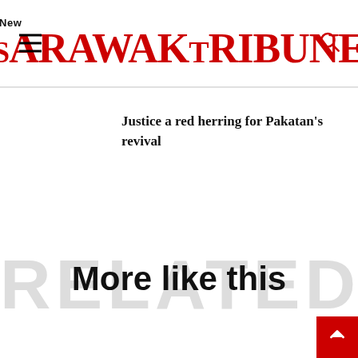New Sarawak Tribune
Justice a red herring for Pakatan's revival
More like this